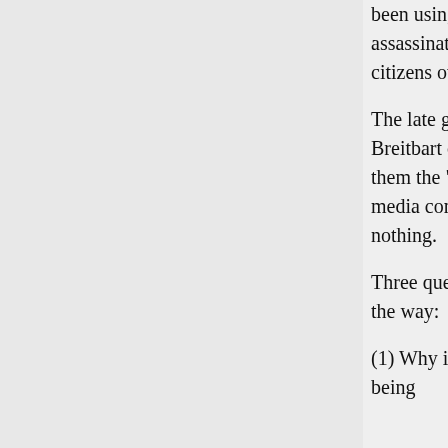been using drones to assassinate American citizens overseas.

The late great Andrew Breitbart didn't call them the "Democrat-media complex" for nothing.

Three questions, by the way:

(1) Why is this story being